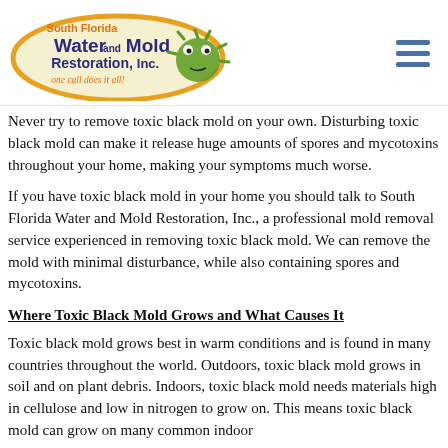[Figure (logo): South Florida Water and Mold Restoration, Inc. logo — oval shape with orange border, text 'South Florida' in orange, 'Water and Mold' in large dark blue bold, 'Restoration, Inc.' in dark blue, 'one call does it all!' in cursive orange, and a green cartoon mold monster character.]
Never try to remove toxic black mold on your own. Disturbing toxic black mold can make it release huge amounts of spores and mycotoxins throughout your home, making your symptoms much worse.
If you have toxic black mold in your home you should talk to South Florida Water and Mold Restoration, Inc., a professional mold removal service experienced in removing toxic black mold. We can remove the mold with minimal disturbance, while also containing spores and mycotoxins.
Where Toxic Black Mold Grows and What Causes It
Toxic black mold grows best in warm conditions and is found in many countries throughout the world. Outdoors, toxic black mold grows in soil and on plant debris. Indoors, toxic black mold needs materials high in cellulose and low in nitrogen to grow on. This means toxic black mold can grow on many common indoor